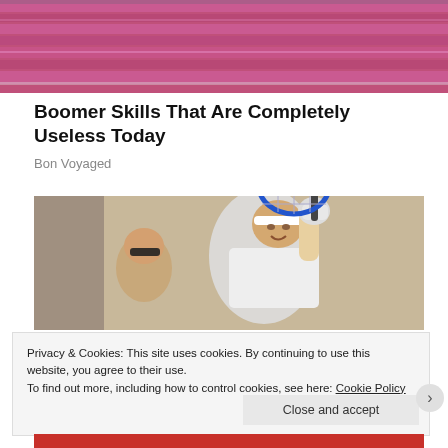[Figure (photo): Cropped photo showing pink/magenta satin-like fabric or clothing, bottom portion of a person]
Boomer Skills That Are Completely Useless Today
Bon Voyaged
[Figure (photo): Older man playing squash or racquetball, wearing white headband and glove, holding a blue tennis/squash racket raised up; another man with sunglasses visible behind him]
Privacy & Cookies: This site uses cookies. By continuing to use this website, you agree to their use.
To find out more, including how to control cookies, see here: Cookie Policy
Close and accept